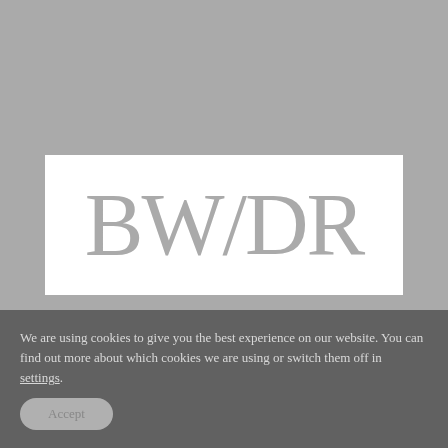[Figure (logo): BWDR logo — large serif letters 'BW' followed by a stylized ampersand/phi character, then 'DR', rendered in grey on a white rectangular background, set against a grey background image area.]
We are using cookies to give you the best experience on our website. You can find out more about which cookies we are using or switch them off in settings.
Accept